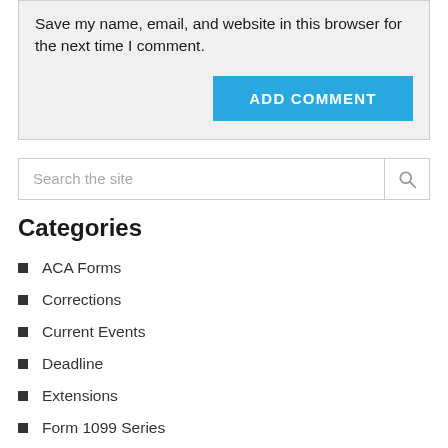Save my name, email, and website in this browser for the next time I comment.
ADD COMMENT
Search the site
Categories
ACA Forms
Corrections
Current Events
Deadline
Extensions
Form 1099 Series
Form 5498 Series
Form 7200